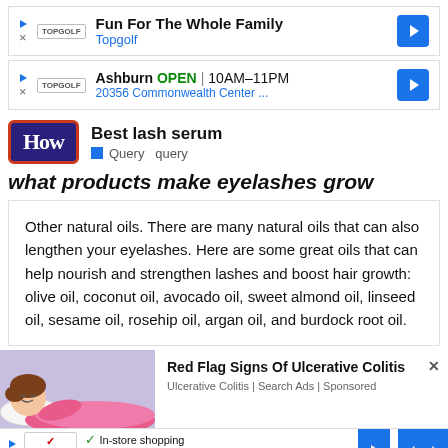[Figure (screenshot): Topgolf ad banner 1 - Fun For The Whole Family]
[Figure (screenshot): Topgolf ad banner 2 - Ashburn OPEN 10AM-11PM, 20356 Commonwealth Center]
[Figure (screenshot): HowStuffWorks logo bar with Best lash serum query]
what products make eyelashes grow (partial heading, italic)
Other natural oils. There are many natural oils that can also lengthen your eyelashes. Here are some great oils that can help nourish and strengthen lashes and boost hair growth: olive oil, coconut oil, avocado oil, sweet almond oil, linseed oil, sesame oil, rosehip oil, argan oil, and burdock root oil.
[Figure (screenshot): Red Flag Signs Of Ulcerative Colitis ad with cartoon figure of sleeping person]
[Figure (screenshot): Mattress Firm ad banner - In-store shopping, In-store pickup, Delivery]